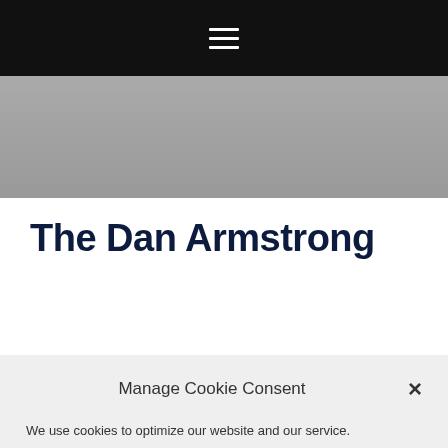Navigation menu (hamburger icon)
[Figure (screenshot): Gray hero/banner area at top of webpage]
The Dan Armstrong
Manage Cookie Consent
We use cookies to optimize our website and our service.
ACCEPT COOKIES
DENY
VIEW PREFERENCES
Cookie policy  Privacy policy